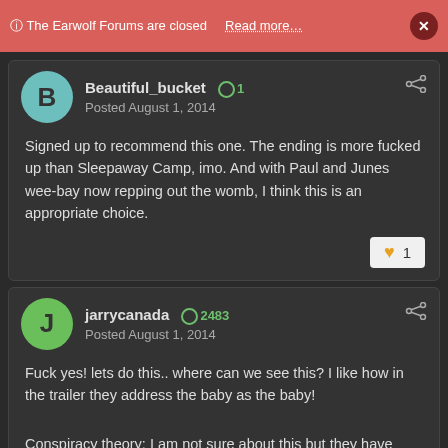ⓘ The Earwolf Forums are closed   Read more…   ×
Beautiful_bucket  🔵 1
Posted August 1, 2014
Signed up to recommend this one. The ending is more fucked up than Sleepaway Camp, imo. And with Paul and Junes wee-bay now repping out the womb, I think this is an appropriate choice.
♥ 1
jarrycanada  🔵 2483
Posted August 1, 2014
Fuck yes! lets do this.. where can we see this? I like how in the trailer they address the baby as the baby!
Conspiracy theory: I am not sure about this but they have never